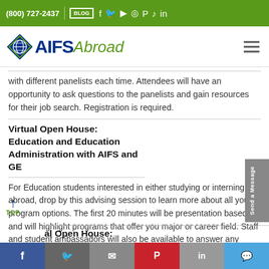(800) 727-2437 | BLOG [social icons]
[Figure (logo): AIFS Abroad logo with diamond globe icon, blue AIFS text and green italic Abroad text]
with different panelists each time. Attendees will have an opportunity to ask questions to the panelists and gain resources for their job search. Registration is required.
Virtual Open House: Education and Education Administration with AIFS and GE
For Education students interested in either studying or interning abroad, drop by this advising session to learn more about all your program options. The first 20 minutes will be presentation based and will highlight programs that offer you major or career field. Staff and student ambassadors will also be available to answer any general questions you may have about the programs, application process, scholarships, courses, ng, etc. The same session will be offered both days.
al Open House:
Facebook | Twitter | Email | Pinterest | LinkedIn | Messenger